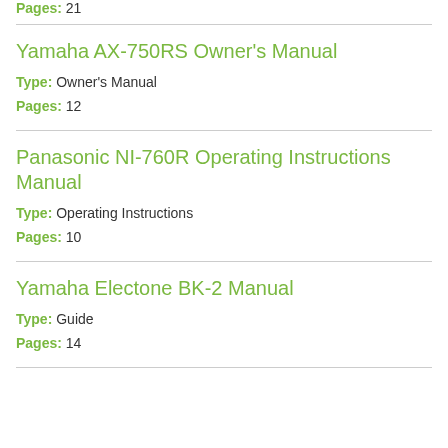Pages: 21
Yamaha AX-750RS Owner's Manual
Type: Owner's Manual
Pages: 12
Panasonic NI-760R Operating Instructions Manual
Type: Operating Instructions
Pages: 10
Yamaha Electone BK-2 Manual
Type: Guide
Pages: 14